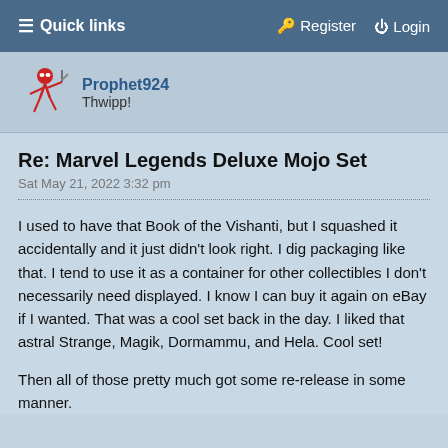≡ Quick links   🔑 Register   ⏻ Login
Prophet924
Thwipp!
Re: Marvel Legends Deluxe Mojo Set
Sat May 21, 2022 3:32 pm
I used to have that Book of the Vishanti, but I squashed it accidentally and it just didn't look right. I dig packaging like that. I tend to use it as a container for other collectibles I don't necessarily need displayed. I know I can buy it again on eBay if I wanted. That was a cool set back in the day. I liked that astral Strange, Magik, Dormammu, and Hela. Cool set!
Then all of those pretty much got some re-release in some manner.